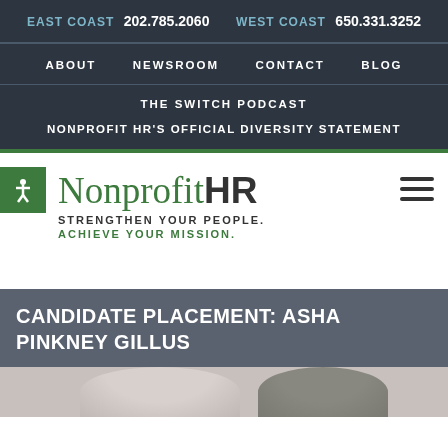EAST COAST 202.785.2060  WEST COAST 650.331.3252
ABOUT  NEWSROOM  CONTACT  BLOG
THE SWITCH PODCAST
NONPROFIT HR'S OFFICIAL DIVERSITY STATEMENT
[Figure (logo): Nonprofit HR logo with taglines: STRENGTHEN YOUR PEOPLE. ACHIEVE YOUR MISSION.]
CANDIDATE PLACEMENT: ASHA PINKNEY GILLUS
[Figure (photo): Partial photo at bottom of page, showing top of person's head]